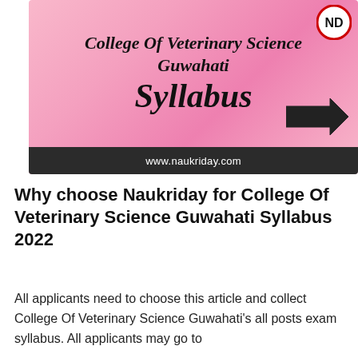[Figure (illustration): Pink banner for College Of Veterinary Science Guwahati Syllabus with ND logo circle in top right, large bold italic text, and dark footer bar with www.naukriday.com]
Why choose Naukriday for College Of Veterinary Science Guwahati Syllabus 2022
All applicants need to choose this article and collect College Of Veterinary Science Guwahati's all posts exam syllabus. All applicants may go to